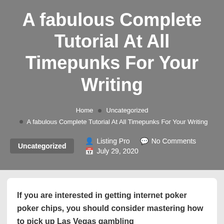A fabulous Complete Tutorial At All Timepunks For Your Writing
Home • Uncategorized • A fabulous Complete Tutorial At All Timepunks For Your Writing
Uncategorized  👤 Listing Pro  💬 No Comments  📅 July 29, 2020
If you are interested in getting internet poker poker chips, you should consider mastering how to pick up Las Vegas gambling